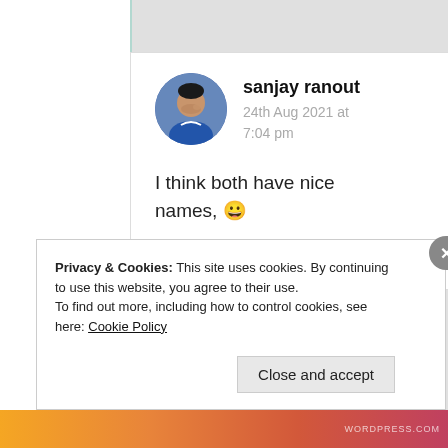[Figure (photo): Circular avatar photo of a young man in a blue shirt]
sanjay ranout
24th Aug 2021 at 7:04 pm
I think both have nice names, 😀
★ Liked by 3 people
Privacy & Cookies: This site uses cookies. By continuing to use this website, you agree to their use.
To find out more, including how to control cookies, see here: Cookie Policy
Close and accept